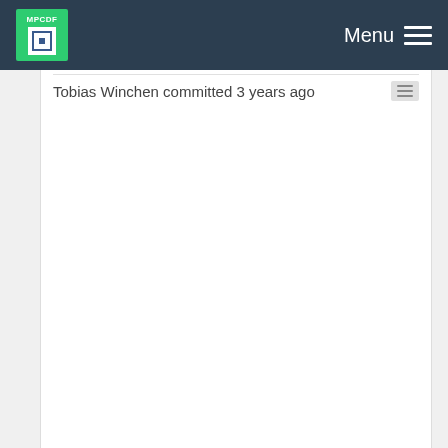MPCDF  Menu
Tobias Winchen committed 3 years ago